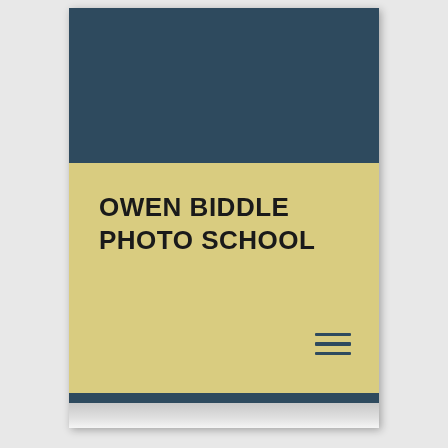[Figure (screenshot): Top dark navy blue section of a book/notebook cover]
OWEN BIDDLE PHOTO SCHOOL
[Figure (other): Hamburger menu icon (three horizontal lines) in navy blue]